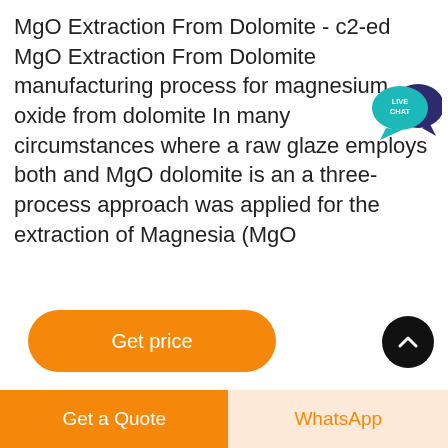MgO Extraction From Dolomite - c2-ed MgO Extraction From Dolomite manufacturing process for magnesium oxide from dolomite In many circumstances where a raw glaze employs both and MgO dolomite is an a three-process approach was applied for the extraction of Magnesia (MgO
[Figure (illustration): Live Chat speech bubble icon in teal/dark blue colors with white text 'LIVE CHAT']
[Figure (other): Orange rounded rectangle button labeled 'Get price' in white text]
[Figure (photo): Interior of a large industrial warehouse showing steel roof trusses, skylights, and hanging lights]
[Figure (other): Dark circular scroll-up button with white chevron arrow pointing upward]
[Figure (other): Bottom navigation bar with two buttons: orange 'Get a Quote' button on the left and light orange 'WhatsApp' button on the right]